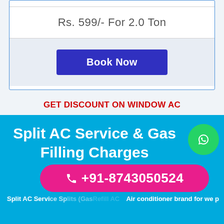Rs. 599/- For 2.0 Ton
[Figure (screenshot): Book Now button — dark blue/indigo rounded rectangle with white bold text]
GET DISCOUNT ON WINDOW AC
Split AC Service & Gas Filling Charges
+91-8743050524
Split AC Ser... Air conditioner brand for we p